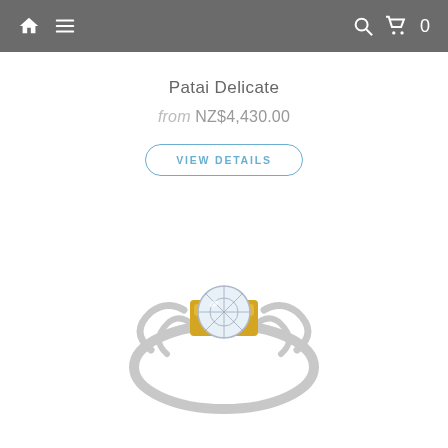Navigation bar with home, menu, search, and cart (0) icons
Patai Delicate
from NZ$4,430.00
VIEW DETAILS
[Figure (photo): A delicate engagement ring with a silver band featuring split/open-work shoulders and a round brilliant-cut diamond set in a yellow gold bezel/holder at the center.]